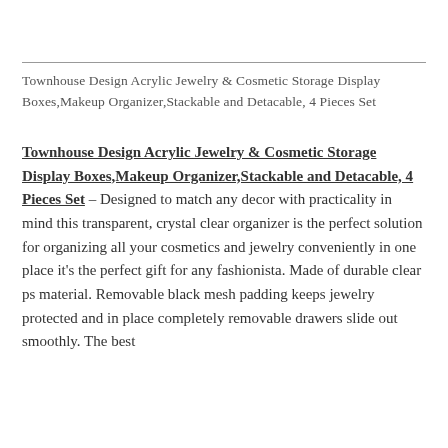Townhouse Design Acrylic Jewelry & Cosmetic Storage Display Boxes,Makeup Organizer,Stackable and Detacable, 4 Pieces Set
Townhouse Design Acrylic Jewelry & Cosmetic Storage Display Boxes,Makeup Organizer,Stackable and Detacable, 4 Pieces Set – Designed to match any decor with practicality in mind this transparent, crystal clear organizer is the perfect solution for organizing all your cosmetics and jewelry conveniently in one place it's the perfect gift for any fashionista. Made of durable clear ps material. Removable black mesh padding keeps jewelry protected and in place completely removable drawers slide out smoothly. The best